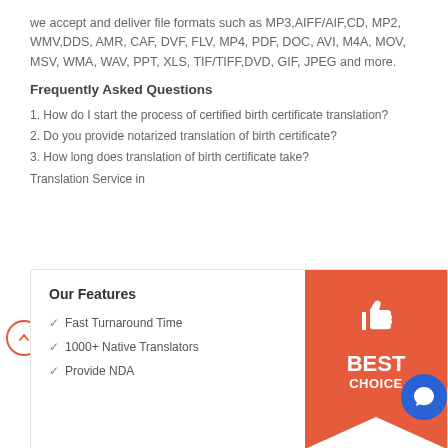we accept and deliver file formats such as MP3,AIFF/AIF,CD, MP2, WMV,DDS, AMR, CAF, DVF, FLV, MP4, PDF, DOC, AVI, M4A, MOV, MSV, WMA, WAV, PPT, XLS, TIF/TIFF,DVD, GIF, JPEG and more.
Frequently Asked Questions
1. How do I start the process of certified birth certificate translation?
2. Do you provide notarized translation of birth certificate?
3. How long does translation of birth certificate take?
Translation Service in
[Figure (infographic): Our Features panel with checkmarks for Fast Turnaround Time, 1000+ Native Translators, Provide NDA; and an orange banner with thumbs up icon and BEST CHOICE text]